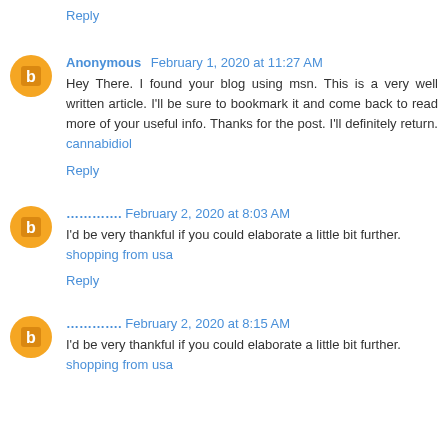Reply
Anonymous February 1, 2020 at 11:27 AM
Hey There. I found your blog using msn. This is a very well written article. I'll be sure to bookmark it and come back to read more of your useful info. Thanks for the post. I'll definitely return. cannabidiol
Reply
........... February 2, 2020 at 8:03 AM
I'd be very thankful if you could elaborate a little bit further. shopping from usa
Reply
........... February 2, 2020 at 8:15 AM
I'd be very thankful if you could elaborate a little bit further. shopping from usa